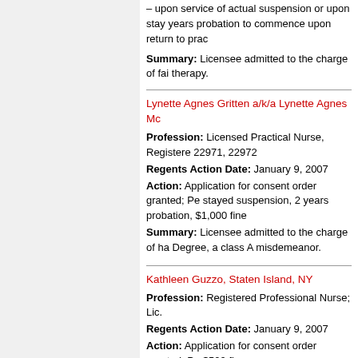– upon service of actual suspension or upon stay years probation to commence upon return to prac
Summary: Licensee admitted to the charge of fai therapy.
Lynette Agnes Gritten a/k/a Lynette Agnes Mc
Profession: Licensed Practical Nurse, Registere 22971, 22972
Regents Action Date: January 9, 2007
Action: Application for consent order granted; Pe stayed suspension, 2 years probation, $1,000 fine
Summary: Licensee admitted to the charge of ha Degree, a class A misdemeanor.
Kathleen Guzzo, Staten Island, NY
Profession: Registered Professional Nurse; Lic.
Regents Action Date: January 9, 2007
Action: Application for consent order granted; Pe $500 fine.
Summary: Licensee admitted to the charge of ste
Hubert Delroy Hamilton, Bronx, NY
Profession: Registered Professional Nurse; Lic.
Regents Action Date: January 9, 2007
Action: Application for consent order granted; Re